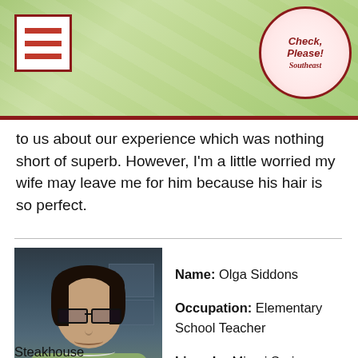Check Please! Southeast
to us about our experience which was nothing short of superb. However, I'm a little worried my wife may leave me for him because his hair is so perfect.
[Figure (photo): Photo of Olga Siddons, a woman with dark hair and glasses, wearing a light green top and pearl necklace, smiling at camera]
Name: Olga Siddons
Occupation: Elementary School Teacher
Lives In: Miami Springs
Restaurant Pick: My Little Greek Deli
Reviewed: Sardelli Italian Steakhouse
Sardelli is everything you wish for in a classy, upscale